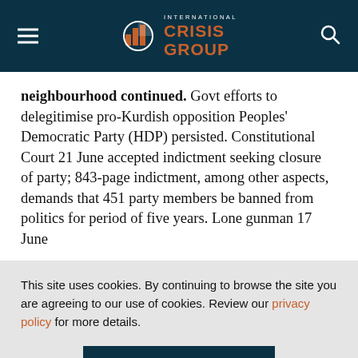International Crisis Group
neighbourhood continued. Govt efforts to delegitimise pro-Kurdish opposition Peoples' Democratic Party (HDP) persisted. Constitutional Court 21 June accepted indictment seeking closure of party; 843-page indictment, among other aspects, demands that 451 party members be banned from politics for period of five years. Lone gunman 17 June
This site uses cookies. By continuing to browse the site you are agreeing to our use of cookies. Review our privacy policy for more details.
YES, I AGREE